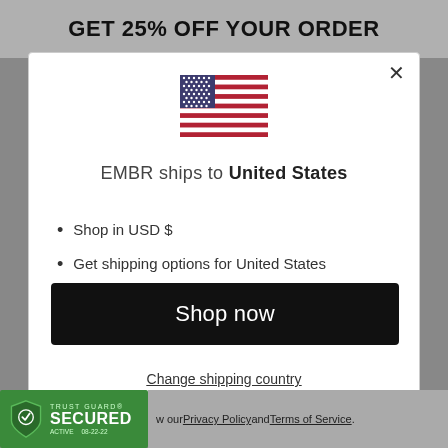GET 25% OFF YOUR ORDER
[Figure (illustration): US flag icon centered in modal]
EMBR ships to United States
Shop in USD $
Get shipping options for United States
Shop now
Change shipping country
[Figure (logo): Trust Guard Secured Active badge, green shield, dated 08-22-22]
w our Privacy Policy and Terms of Service.